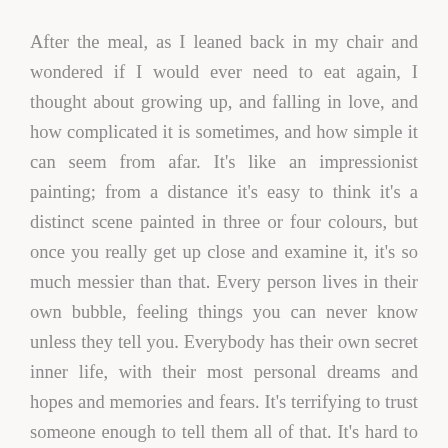After the meal, as I leaned back in my chair and wondered if I would ever need to eat again, I thought about growing up, and falling in love, and how complicated it is sometimes, and how simple it can seem from afar. It's like an impressionist painting; from a distance it's easy to think it's a distinct scene painted in three or four colours, but once you really get up close and examine it, it's so much messier than that. Every person lives in their own bubble, feeling things you can never know unless they tell you. Everybody has their own secret inner life, with their most personal dreams and hopes and memories and fears. It's terrifying to trust someone enough to tell them all of that. It's hard to let other people into your bubble.
And yet... we do it. We risk it. We feel passion, and